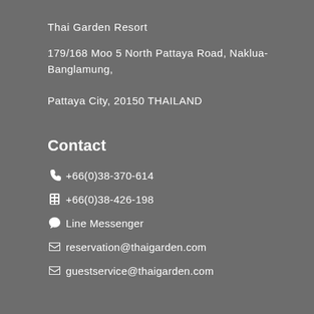Thai Garden Resort
179/168 Moo 5 North Pattaya Road, Naklua-Banglamung,
Pattaya City, 20150 THAILAND
Contact
+66(0)38-370-614
+66(0)38-426-198
Line Messenger
reservation@thaigarden.com
guestservice@thaigarden.com